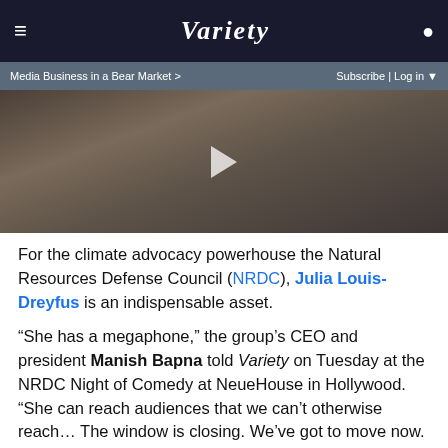VARIETY
Media Business in a Bear Market >  Subscribe | Log in ▼
[Figure (photo): Photo of person wearing a brown/olive knit sweater, partially visible, with a play button overlay indicating a video]
For the climate advocacy powerhouse the Natural Resources Defense Council (NRDC), Julia Louis-Dreyfus is an indispensable asset.
“She has a megaphone,” the group’s CEO and president Manish Bapna told Variety on Tuesday at the NRDC Night of Comedy at NeueHouse in Hollywood. “She can reach audiences that we can’t otherwise reach… The window is closing. We’ve got to move now. There’s an urgency to this. It’s about protecting the air we breathe. It’s about a better life. And she can tell that story.”